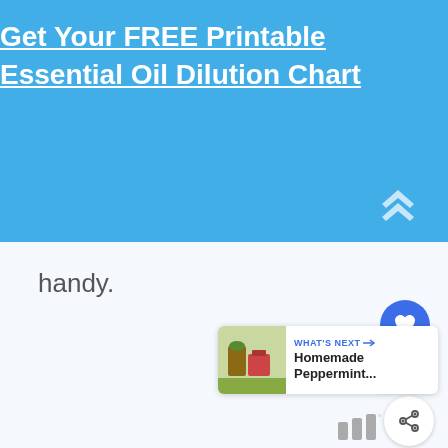Get Your FREE Printable Essential Oil Dilution Chart
handy.
[Figure (screenshot): Heart/like button (blue circle with white heart icon), count label showing 5.6K, and share button (white circle with share icon)]
[Figure (screenshot): What's Next card showing thumbnail image of homemade peppermint item with label 'WHAT'S NEXT →' and title 'Homemade Peppermint...']
[Figure (logo): Small bar/brand icon at bottom right with degree symbol]